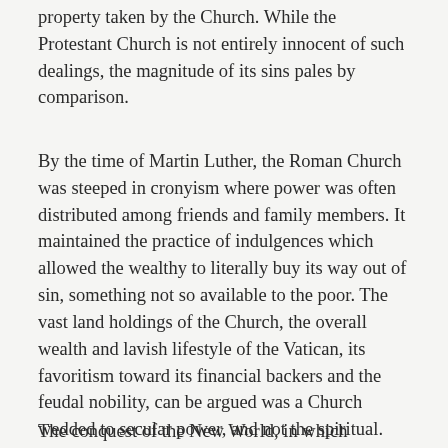property taken by the Church. While the Protestant Church is not entirely innocent of such dealings, the magnitude of its sins pales by comparison.
By the time of Martin Luther, the Roman Church was steeped in cronyism where power was often distributed among friends and family members. It maintained the practice of indulgences which allowed the wealthy to literally buy its way out of sin, something not so available to the poor. The vast land holdings of the Church, the overall wealth and lavish lifestyle of the Vatican, its favoritism toward its financial backers and the feudal nobility, can be argued was a Church wedded to secular power, and not the spiritual.
The conquest of the New World, in which